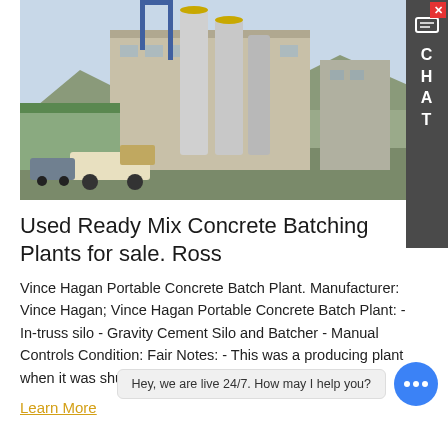[Figure (photo): Aerial/elevated view of a concrete batching plant facility with large silver silos, industrial buildings, and trucks on site with mountains in background.]
Used Ready Mix Concrete Batching Plants for sale. Ross
Vince Hagan Portable Concrete Batch Plant. Manufacturer: Vince Hagan; Vince Hagan Portable Concrete Batch Plant: - In-truss silo - Gravity Cement Silo and Batcher - Manual Controls Condition: Fair Notes: - This was a producing plant when it was shut down. - Plant is
Learn More